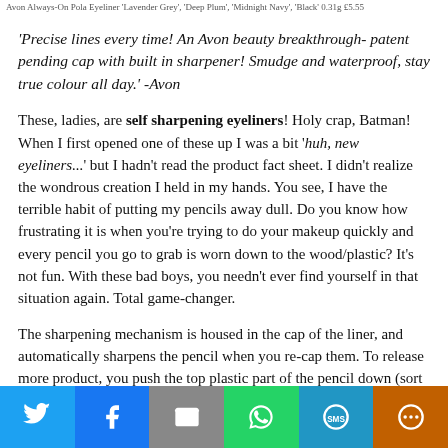Avon Always-On Pola Eyeliner 'Lavender Grey', 'Deep Plum', 'Midnight Navy', 'Black' 0.31g £5.55
'Precise lines every time! An Avon beauty breakthrough- patent pending cap with built in sharpener! Smudge and waterproof, stay true colour all day.' -Avon
These, ladies, are self sharpening eyeliners! Holy crap, Batman! When I first opened one of these up I was a bit 'huh, new eyeliners...' but I hadn't read the product fact sheet. I didn't realize the wondrous creation I held in my hands. You see, I have the terrible habit of putting my pencils away dull. Do you know how frustrating it is when you're trying to do your makeup quickly and every pencil you go to grab is worn down to the wood/plastic? It's not fun. With these bad boys, you needn't ever find yourself in that situation again. Total game-changer.
The sharpening mechanism is housed in the cap of the liner, and automatically sharpens the pencil when you re-cap them. To release more product, you push the top plastic part of the pencil down (sort of like a mechanical pencil) but there is no way to put it